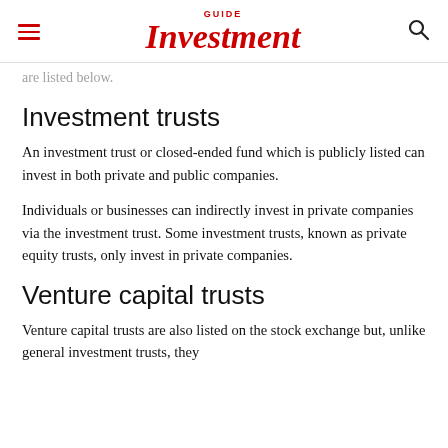GUIDE Investment
are listed below.
Investment trusts
An investment trust or closed-ended fund which is publicly listed can invest in both private and public companies.
Individuals or businesses can indirectly invest in private companies via the investment trust. Some investment trusts, known as private equity trusts, only invest in private companies.
Venture capital trusts
Venture capital trusts are also listed on the stock exchange but, unlike general investment trusts, they